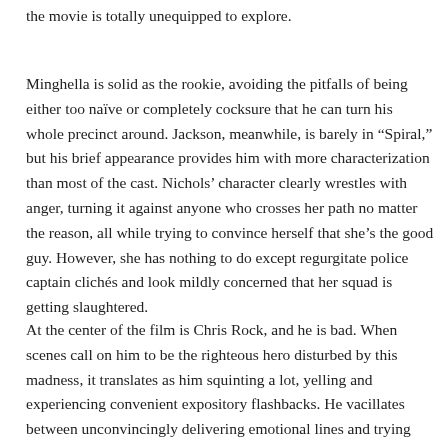the movie is totally unequipped to explore.
Minghella is solid as the rookie, avoiding the pitfalls of being either too naïve or completely cocksure that he can turn his whole precinct around. Jackson, meanwhile, is barely in “Spiral,” but his brief appearance provides him with more characterization than most of the cast. Nichols’ character clearly wrestles with anger, turning it against anyone who crosses her path no matter the reason, all while trying to convince herself that she’s the good guy. However, she has nothing to do except regurgitate police captain clichés and look mildly concerned that her squad is getting slaughtered.
At the center of the film is Chris Rock, and he is bad. When scenes call on him to be the righteous hero disturbed by this madness, it translates as him squinting a lot, yelling and experiencing convenient expository flashbacks. He vacillates between unconvincingly delivering emotional lines and trying out new ideas that feel a bit off from a film about the Jigsaw Saw killer. Not